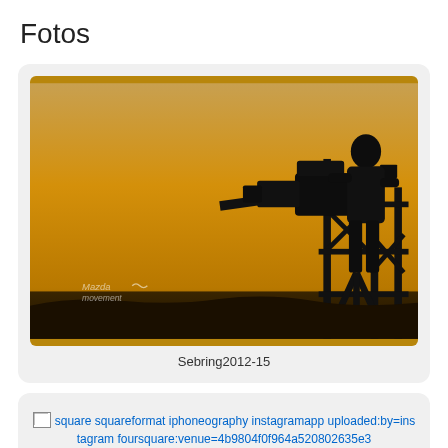Fotos
[Figure (photo): Silhouette of a camera operator on a scaffold/crane against a warm orange sunset sky. Watermark text 'Mazda movement' in lower left corner.]
Sebring2012-15
[Figure (photo): Broken image placeholder with alt text: square squareformat iphoneography instagramapp uploaded:by=instagram foursquare:venue=4b9804f0f964a520802635e3]
Sunset over #Sebring #nofilter